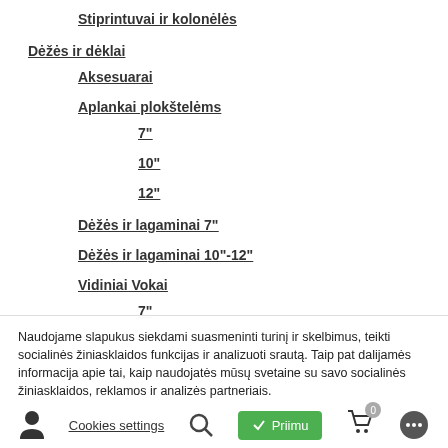Stiprintuvai ir kolonėlės
Dėžės ir dėklai
Aksesuarai
Aplankai plokštelėms
7"
10"
12"
Dėžės ir lagaminai 7"
Dėžės ir lagaminai 10"-12"
Vidiniai Vokai
7"
10
Naudojame slapukus siekdami suasmeninti turinį ir skelbimus, teikti socialinės žiniasklaidos funkcijas ir analizuoti srautą. Taip pat dalijamės informacija apie tai, kaip naudojatės mūsų svetaine su savo socialinės žiniasklaidos, reklamos ir analizės partneriais.
Cookies settings
Priimu